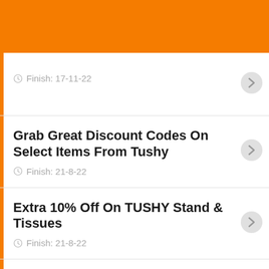Finish: 17-11-22
Grab Great Discount Codes On Select Items From Tushy
Finish: 21-8-22
Extra 10% Off On TUSHY Stand & Tissues
Finish: 21-8-22
Tushy Financing: Pay Over